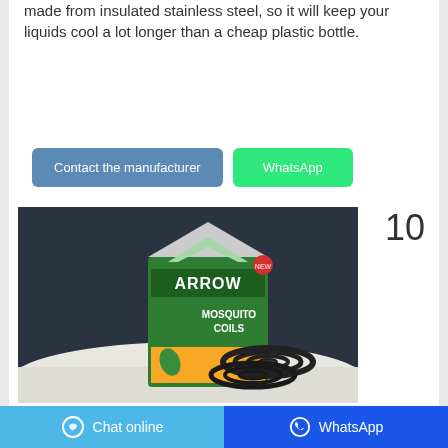made from insulated stainless steel, so it will keep your liquids cool a lot longer than a cheap plastic bottle.
Contact the manufacturer
WhatsApp
10
[Figure (photo): Arrow brand Mosquito Coils product box (green and yellow packaging) with coils displayed in front, on a white cloth surface with dark background]
Chat online   WhatsApp